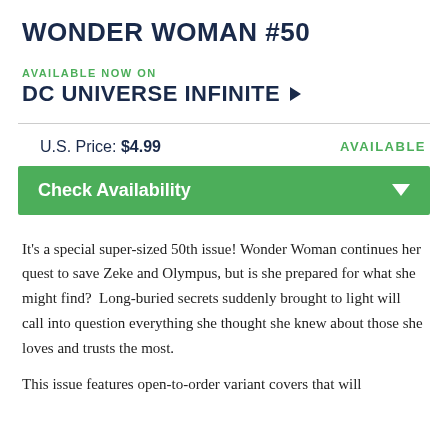WONDER WOMAN #50
AVAILABLE NOW ON
DC UNIVERSE INFINITE ▶
U.S. Price: $4.99
AVAILABLE
Check Availability
It's a special super-sized 50th issue! Wonder Woman continues her quest to save Zeke and Olympus, but is she prepared for what she might find?  Long-buried secrets suddenly brought to light will call into question everything she thought she knew about those she loves and trusts the most.
This issue features open-to-order variant covers that will